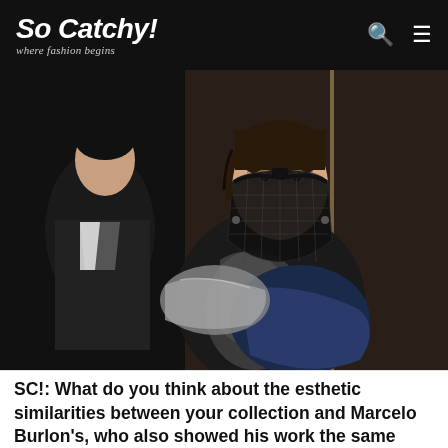So Catchy! where fashion begins
[Figure (photo): Fashion photo showing a model wearing a black mesh face mask/muzzle covering the lower face, dressed in a dark shiny coat with blue fur trim. A second model in black and white outfit is partially visible in the background. Dark industrial/wooden wall backdrop.]
SC!: What do you think about the esthetic similarities between your collection and Marcelo Burlon's, who also showed his work the same